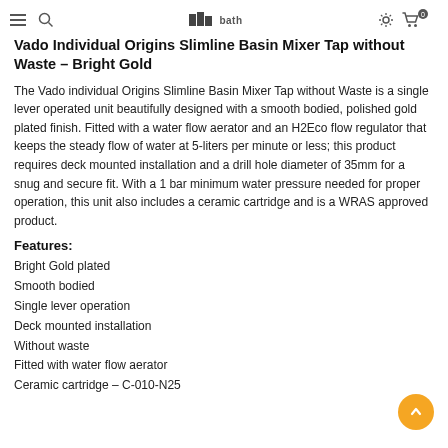HiiBath [navigation icons]
Vado Individual Origins Slimline Basin Mixer Tap without Waste – Bright Gold
The Vado individual Origins Slimline Basin Mixer Tap without Waste is a single lever operated unit beautifully designed with a smooth bodied, polished gold plated finish. Fitted with a water flow aerator and an H2Eco flow regulator that keeps the steady flow of water at 5-liters per minute or less; this product requires deck mounted installation and a drill hole diameter of 35mm for a snug and secure fit. With a 1 bar minimum water pressure needed for proper operation, this unit also includes a ceramic cartridge and is a WRAS approved product.
Features:
Bright Gold plated
Smooth bodied
Single lever operation
Deck mounted installation
Without waste
Fitted with water flow aerator
Ceramic cartridge – C-010-N25